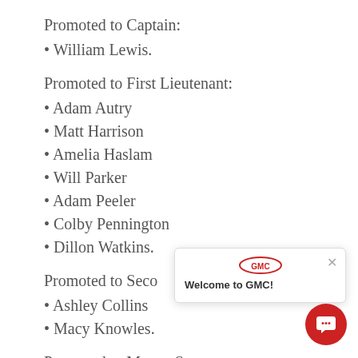Promoted to Captain:
• William Lewis.
Promoted to First Lieutenant:
• Adam Autry
• Matt Harrison
• Amelia Haslam
• Will Parker
• Adam Peeler
• Colby Pennington
• Dillon Watkins.
Promoted to Second [Lieutenant]:
• Ashley Collins
• Macy Knowles.
Promoted to Master Sergeant:
[Figure (screenshot): GMC chat widget overlay showing GMC logo, close button (×), and 'Welcome to GMC!' text with a red chat bubble icon in the bottom-right corner.]